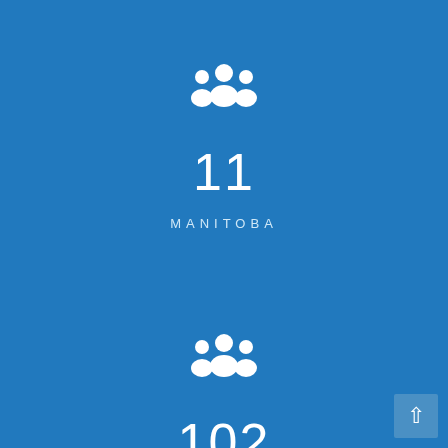[Figure (infographic): White group/people icon on blue background representing Manitoba community count]
11
MANITOBA
[Figure (infographic): White group/people icon on blue background representing Ontario community count]
102
ONTARIO